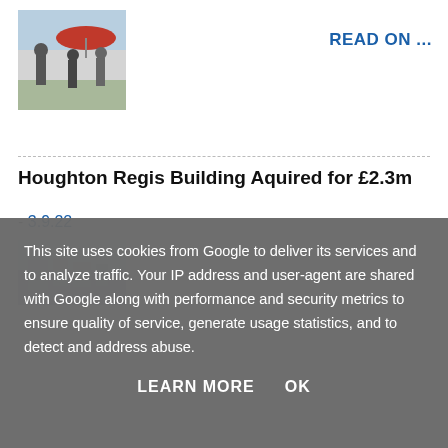[Figure (photo): Thumbnail photo of people outdoors with umbrellas/canopy in background]
READ ON ...
Houghton Regis Building Aquired for £2.3m
- 3.9.22
[Figure (photo): Thumbnail photo of building or landscape, partially visible]
This site uses cookies from Google to deliver its services and to analyze traffic. Your IP address and user-agent are shared with Google along with performance and security metrics to ensure quality of service, generate usage statistics, and to detect and address abuse.
LEARN MORE   OK